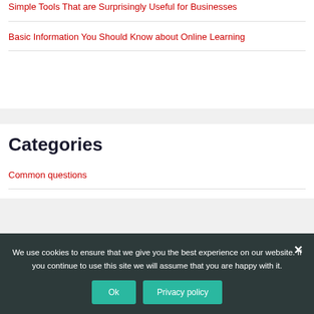Simple Tools That are Surprisingly Useful for Businesses
Basic Information You Should Know about Online Learning
Categories
Common questions
Guidelines
We use cookies to ensure that we give you the best experience on our website. If you continue to use this site we will assume that you are happy with it.